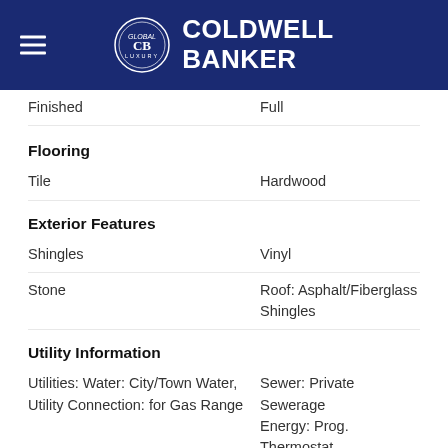COLDWELL BANKER
Finished	Full
Flooring
Tile	Hardwood
Exterior Features
Shingles	Vinyl
Stone	Roof: Asphalt/Fiberglass Shingles
Utility Information
Utilities: Water: City/Town Water, Utility Connection: for Gas Range	Sewer: Private Sewerage
Energy: Prog. Thermostat
School Information
Elementary School: South
Garage